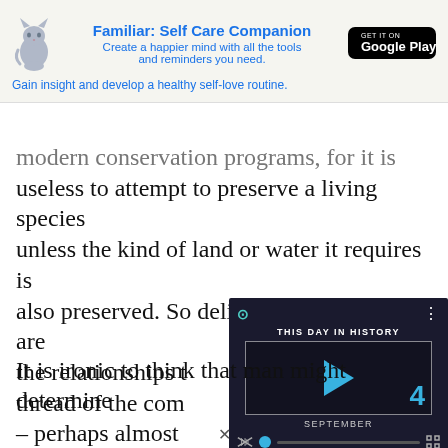[Figure (infographic): Advertisement banner for 'Familiar: Self Care Companion' app with cat illustration and Google Play button]
modern conservation programs, for it is useless to attempt to preserve a living species unless the kind of land or water it requires is also preserved. So delicately interwoven are the relationships t thread of the com – perhaps almost drastically that de Carson
[Figure (screenshot): Video player overlay showing 'THIS DAY IN HISTORY' with play button, number 4, SEPTEMBER label, and playback controls]
It is ironic to think that man might determine